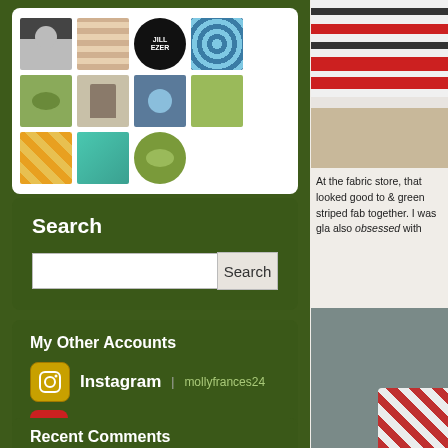[Figure (other): Grid of follower/following avatar thumbnails in a white rounded panel]
Search
[Figure (other): Search input box with Search button]
My Other Accounts
Instagram | mollyfrances24
Pinterest | Molly Porter // Molly Frances
Twitter | mollyfrances24
Recent Comments
[Figure (photo): Close-up photo of striped fabric samples including red/dark stripes and a tan/beige textured fabric]
At the fabric store, that looked good to & green striped fab together. I was gla also obsessed with
[Figure (photo): Close-up photo of gray textured fabric with red gingham/checkered fabric visible at bottom right]